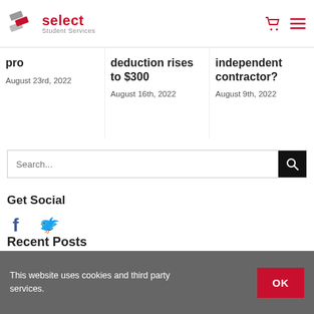[Figure (logo): Select Student Services logo with stylized diagonal shapes and red 'select' text]
pro
August 23rd, 2022
deduction rises to $300
August 16th, 2022
independent contractor?
August 9th, 2022
Search...
Get Social
[Figure (illustration): Facebook and Twitter social media icons]
This website uses cookies and third party services.
Recent Posts